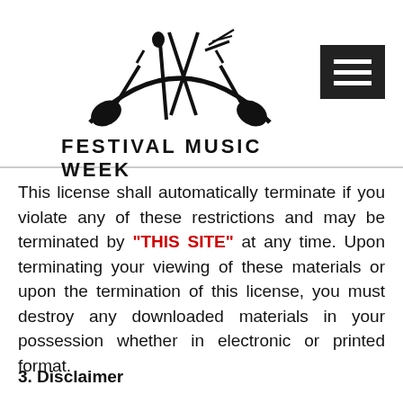[Figure (logo): Festival Music Week logo — silhouette of guitars, microphone, drumsticks above a half-circle stage, with text FESTIVAL MUSIC WEEK below in bold capitals]
This license shall automatically terminate if you violate any of these restrictions and may be terminated by "THIS SITE" at any time. Upon terminating your viewing of these materials or upon the termination of this license, you must destroy any downloaded materials in your possession whether in electronic or printed format.
3. Disclaimer